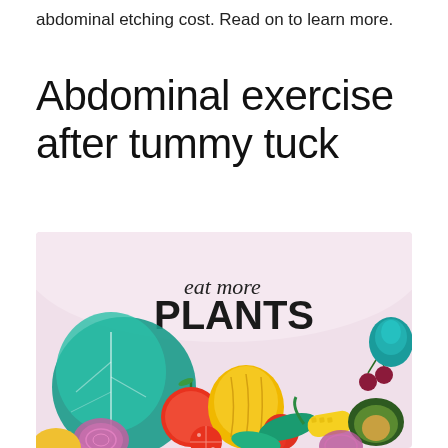abdominal etching cost. Read on to learn more.
Abdominal exercise after tummy tuck
[Figure (illustration): Colorful illustration of various vegetables and fruits on a light pink background with text 'eat more PLANTS'. Includes leafy greens, tomatoes, peppers, corn, avocado, cherries, onions, and an artichoke.]